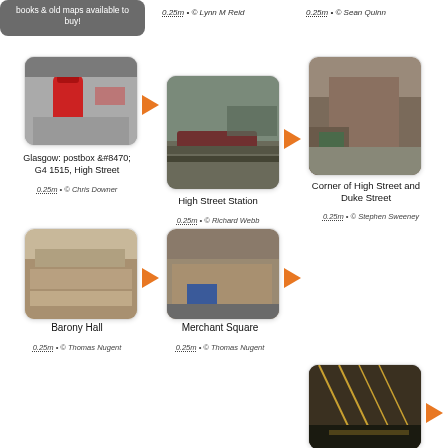books & old maps available to buy!
0.25m • © Lynn M Reid
0.25m • © Sean Quinn
[Figure (photo): Glasgow postbox on a street]
Glasgow: postbox &#8470; G4 1515, High Street
0.25m • © Chris Downer
[Figure (photo): High Street Station with a train]
High Street Station
0.25m • © Richard Webb
[Figure (photo): Corner of High Street and Duke Street]
Corner of High Street and Duke Street
0.25m • © Stephen Sweeney
[Figure (photo): Barony Hall building facade with carved stone]
Barony Hall
0.25m • © Thomas Nugent
[Figure (photo): Merchant Square exterior]
Merchant Square
0.25m • © Thomas Nugent
[Figure (photo): Interior of a train station with glass roof]